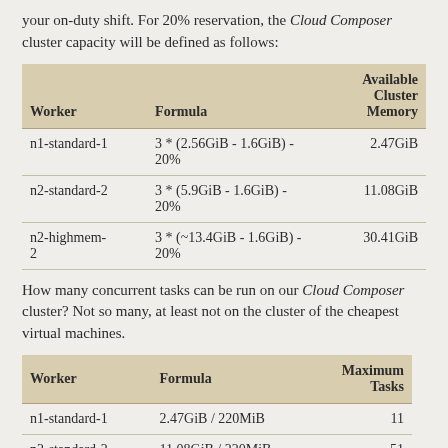your on-duty shift. For 20% reservation, the Cloud Composer cluster capacity will be defined as follows:
| Worker | Formula | Available Cluster Memory |
| --- | --- | --- |
| n1-standard-1 | 3 * (2.56GiB - 1.6GiB) - 20% | 2.47GiB |
| n2-standard-2 | 3 * (5.9GiB - 1.6GiB) - 20% | 11.08GiB |
| n2-highmem-2 | 3 * (~13.4GiB - 1.6GiB) - 20% | 30.41GiB |
How many concurrent tasks can be run on our Cloud Composer cluster? Not so many, at least not on the cluster of the cheapest virtual machines.
| Worker | Formula | Maximum Tasks |
| --- | --- | --- |
| n1-standard-1 | 2.47GiB / 220MiB | 11 |
| n2-standard-2 | 11.08GiB / 220MiB | 51 |
| n2-highmem-2 | 30.41GiB/ 220MiB | 141 |